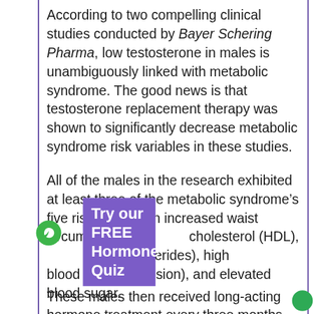According to two compelling clinical studies conducted by Bayer Schering Pharma, low testosterone in males is unambiguously linked with metabolic syndrome. The good news is that testosterone replacement therapy was shown to significantly decrease metabolic syndrome risk variables in these studies.
All of the males in the research exhibited at least three of the metabolic syndrome's five risk factors: an increased waist circumference, low cholesterol (HDL), elevated triglycerides), high blood pressure (hypertension), and elevated blood sugar.
[Figure (other): Purple overlay box with text 'Try our FREE Hormone Quiz' and a green circular leaf icon on the left]
These males then received long-acting hormone treatment every three months.